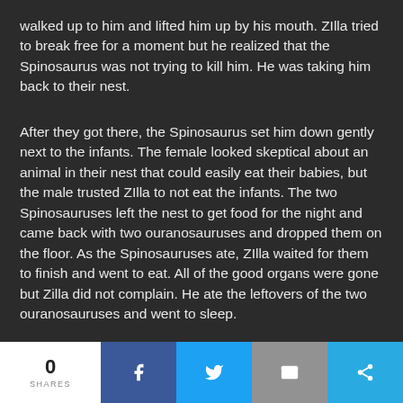walked up to him and lifted him up by his mouth. ZIlla tried to break free for a moment but he realized that the Spinosaurus was not trying to kill him. He was taking him back to their nest.
After they got there, the Spinosaurus set him down gently next to the infants. The female looked skeptical about an animal in their nest that could easily eat their babies, but the male trusted ZIlla to not eat the infants. The two Spinosauruses left the nest to get food for the night and came back with two ouranosauruses and dropped them on the floor. As the Spinosauruses ate, ZIlla waited for them to finish and went to eat. All of the good organs were gone but Zilla did not complain. He ate the leftovers of the two ouranosauruses and went to sleep.
0 SHARES